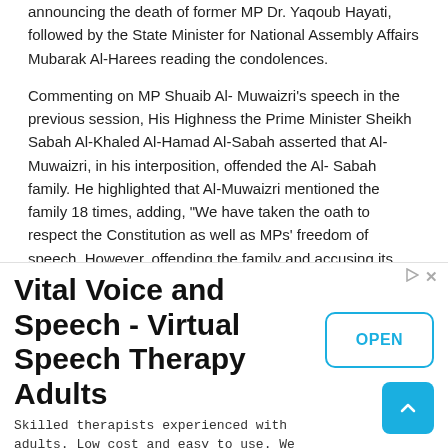announcing the death of former MP Dr. Yaqoub Hayati, followed by the State Minister for National Assembly Affairs Mubarak Al-Harees reading the condolences.
Commenting on MP Shuaib Al- Muwaizri's speech in the previous session, His Highness the Prime Minister Sheikh Sabah Al-Khaled Al-Hamad Al-Sabah asserted that Al-Muwaizri, in his interposition, offended the Al- Sabah family. He highlighted that Al-Muwaizri mentioned the family 18 times, adding, “We have taken the oath to respect the Constitution as well as MPs’ freedom of speech. However, offending the family and accusing its members of corruption and injustice is not part of this freedom of speech”.
[Figure (infographic): Advertisement banner for Vital Voice and Speech - Virtual Speech Therapy Adults. Includes title, description text about skilled therapists, Open button, and scroll-to-top button.]